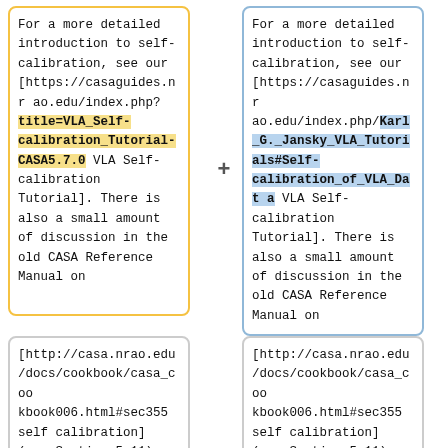For a more detailed introduction to self-calibration, see our [https://casaguides.nrao.edu/index.php?title=VLA_Self-calibration_Tutorial-CASA5.7.0 VLA Self-calibration Tutorial]. There is also a small amount of discussion in the old CASA Reference Manual on
For a more detailed introduction to self-calibration, see our [https://casaguides.nrao.edu/index.php/Karl_G._Jansky_VLA_Tutorials#Self-calibration_of_VLA_Data VLA Self-calibration Tutorial]. There is also a small amount of discussion in the old CASA Reference Manual on
[http://casa.nrao.edu/docs/cookbook/casa_cookbook006.html#sec355 self calibration] (see Section 5.11), and we have lectures on
[http://casa.nrao.edu/docs/cookbook/casa_cookbook006.html#sec355 self calibration] (see Section 5.11), and we have lectures on